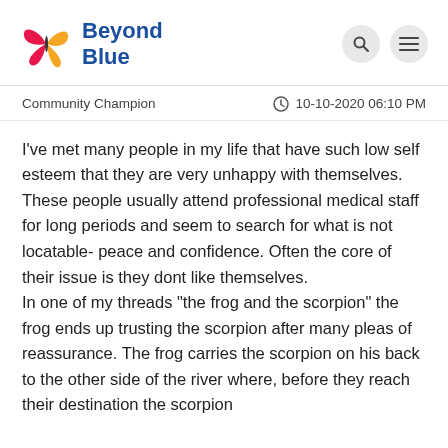[Figure (logo): Beyond Blue logo with butterfly icon (pink and yellow wings) and blue text 'Beyond Blue']
Community Champion   10-10-2020 06:10 PM
I've met many people in my life that have such low self esteem that they are very unhappy with themselves. These people usually attend professional medical staff for long periods and seem to search for what is not locatable- peace and confidence. Often the core of their issue is they dont like themselves. In one of my threads "the frog and the scorpion" the frog ends up trusting the scorpion after many pleas of reassurance. The frog carries the scorpion on his back to the other side of the river where, before they reach their destination the scorpion